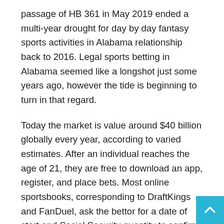passage of HB 361 in May 2019 ended a multi-year drought for day by day fantasy sports activities in Alabama relationship back to 2016. Legal sports betting in Alabama seemed like a longshot just some years ago, however the tide is beginning to turn in that regard.
Today the market is value around $40 billion globally every year, according to varied estimates. After an individual reaches the age of 21, they are free to download an app, register, and place bets. Most online sportsbooks, corresponding to DraftKings and FanDuel, ask the bettor for a date of start and Social Security quantity to confirm age. Android system customers can't make a deposit or request via different methods other than immediately with the web sportsbook app.
The Twin River Casino in Lincoln opened its doorways for